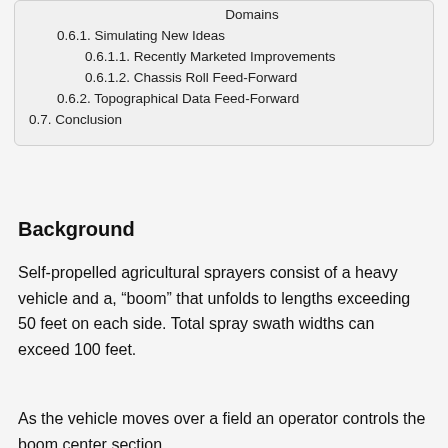Domains
0.6.1. Simulating New Ideas
0.6.1.1. Recently Marketed Improvements
0.6.1.2. Chassis Roll Feed-Forward
0.6.2. Topographical Data Feed-Forward
0.7. Conclusion
Background
Self-propelled agricultural sprayers consist of a heavy vehicle and a, “boom” that unfolds to lengths exceeding 50 feet on each side. Total spray swath widths can exceed 100 feet.
As the vehicle moves over a field an operator controls the boom center section